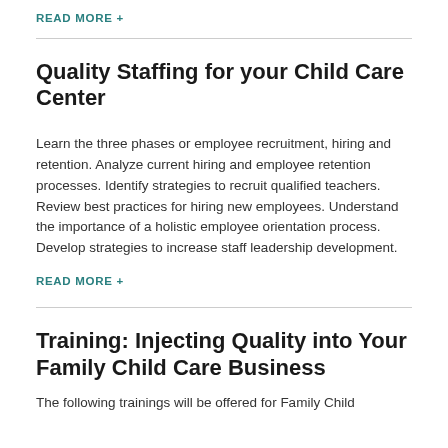READ MORE +
Quality Staffing for your Child Care Center
Learn the three phases or employee recruitment, hiring and retention. Analyze current hiring and employee retention processes. Identify strategies to recruit qualified teachers. Review best practices for hiring new employees. Understand the importance of a holistic employee orientation process. Develop strategies to increase staff leadership development.
READ MORE +
Training: Injecting Quality into Your Family Child Care Business
The following trainings will be offered for Family Child